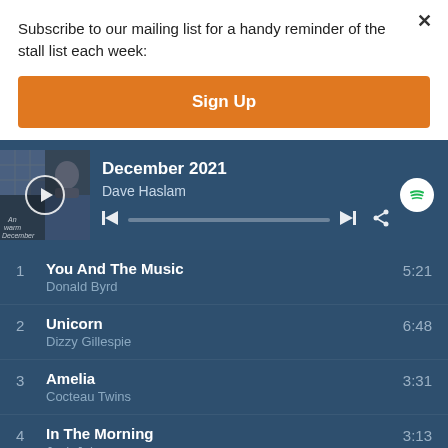Subscribe to our mailing list for a handy reminder of the stall list each week:
Sign Up
[Figure (screenshot): Spotify playlist player widget showing 'December 2021' playlist by Dave Haslam with album art, play controls, and a progress bar]
1  You And The Music  Donald Byrd  5:21
2  Unicorn  Dizzy Gillespie  6:48
3  Amelia  Cocteau Twins  3:31
4  In The Morning  Jack Johnson  3:13
5  Have Yourself a Merry Little Christmas  3:16